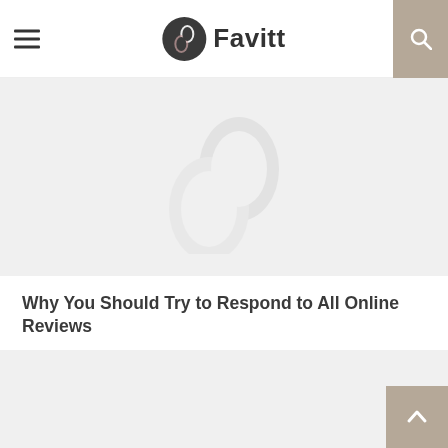Favitt
[Figure (illustration): Gray placeholder image area at the top of the page with a faint Favitt swan logo watermark in the center]
Why You Should Try to Respond to All Online Reviews
[Figure (illustration): Gray placeholder image area at the bottom of the page]